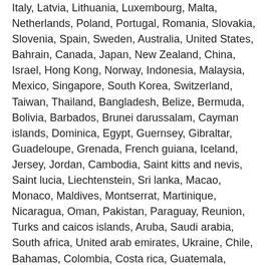Italy, Latvia, Lithuania, Luxembourg, Malta, Netherlands, Poland, Portugal, Romania, Slovakia, Slovenia, Spain, Sweden, Australia, United States, Bahrain, Canada, Japan, New Zealand, China, Israel, Hong Kong, Norway, Indonesia, Malaysia, Mexico, Singapore, South Korea, Switzerland, Taiwan, Thailand, Bangladesh, Belize, Bermuda, Bolivia, Barbados, Brunei darussalam, Cayman islands, Dominica, Egypt, Guernsey, Gibraltar, Guadeloupe, Grenada, French guiana, Iceland, Jersey, Jordan, Cambodia, Saint kitts and nevis, Saint lucia, Liechtenstein, Sri lanka, Macao, Monaco, Maldives, Montserrat, Martinique, Nicaragua, Oman, Pakistan, Paraguay, Reunion, Turks and caicos islands, Aruba, Saudi arabia, South africa, United arab emirates, Ukraine, Chile, Bahamas, Colombia, Costa rica, Guatemala, Honduras, Jamaica, Kuwait, Panama, Philippines, Qatar, Trinidad and tobago, Uruguay, Russian federation.
Model: Rapier 6000 S/S Live
Location: Indoor/Outdoor
Connectivity: Wired
Type: Siren
Brand: ADT